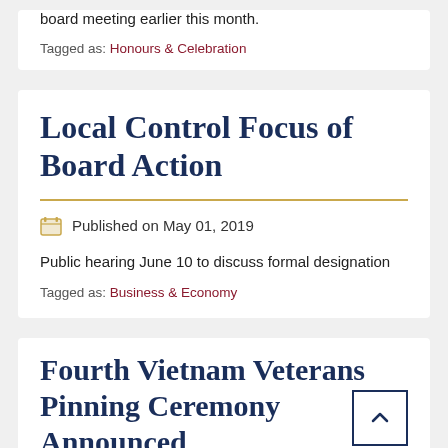board meeting earlier this month.
Tagged as: Honours & Celebration
Local Control Focus of Board Action
Published on May 01, 2019
Public hearing June 10 to discuss formal designation
Tagged as: Business & Economy
Fourth Vietnam Veterans Pinning Ceremony Announced